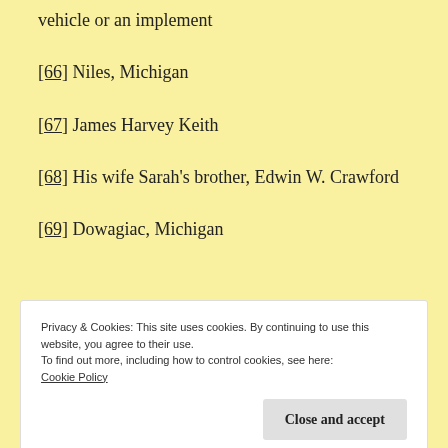vehicle or an implement
[66] Niles, Michigan
[67] James Harvey Keith
[68] His wife Sarah's brother, Edwin W. Crawford
[69] Dowagiac, Michigan
Privacy & Cookies: This site uses cookies. By continuing to use this website, you agree to their use.
To find out more, including how to control cookies, see here:
Cookie Policy
Close and accept
[...] Sarah's brother, Robert Crawford...